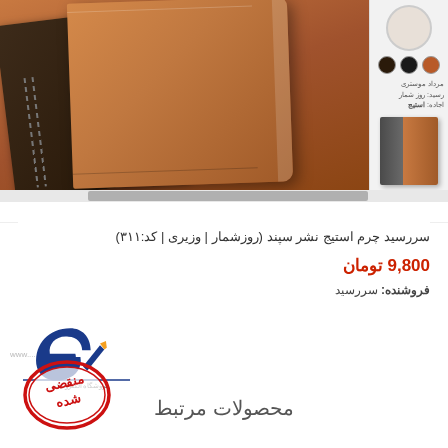[Figure (photo): Photo of leather notebooks/journals stacked, showing brown and dark chocolate colored covers. Main image on left, sidebar with color swatches and thumbnails on right.]
سررسید چرم استیج نشر سپند (روزشمار | وزیری | کد:۳۱۱)
9,800 تومان
فروشنده: سررسید
[Figure (logo): Blue stylized letter e logo with pen, text below in Persian for electronic seller website]
[Figure (other): Red oval stamp with Persian text منقضی شده meaning expired/sold out]
محصولات مرتبط